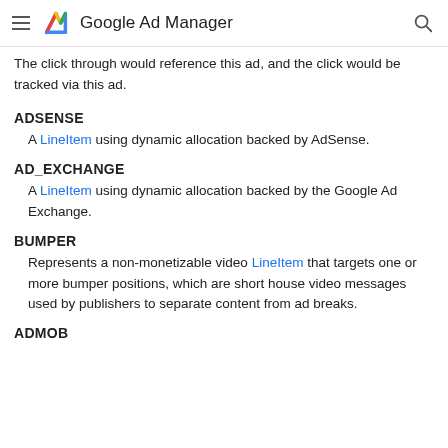Google Ad Manager
The click through would reference this ad, and the click would be tracked via this ad.
ADSENSE
A LineItem using dynamic allocation backed by AdSense.
AD_EXCHANGE
A LineItem using dynamic allocation backed by the Google Ad Exchange.
BUMPER
Represents a non-monetizable video LineItem that targets one or more bumper positions, which are short house video messages used by publishers to separate content from ad breaks.
ADMOB